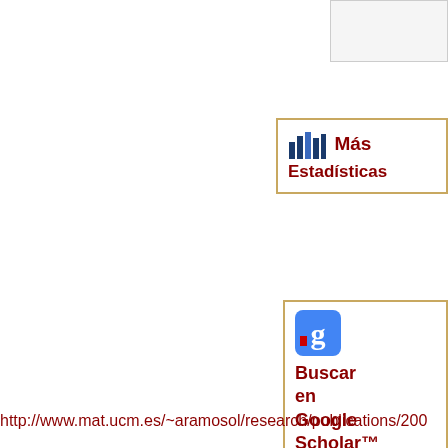[Figure (screenshot): Small white/grey box in top-right corner, partial UI element]
[Figure (screenshot): Más Estadísticas button with bar chart icon, bordered box with gold border]
[Figure (screenshot): Buscar en Google Scholar™ button with Google Scholar icon, bordered box]
[Figure (screenshot): Social media icons: Facebook, Twitter, Mendeley]
http://www.mat.ucm.es/~aramosol/research/publications/200